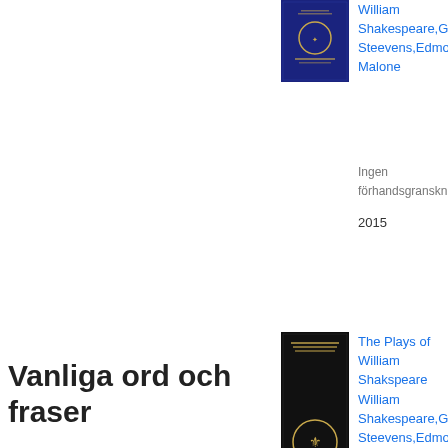[Figure (illustration): Dark blue book cover for Shakespeare plays collection, partially visible at top]
William Shakespeare,Georg Steevens,Edmond Malone
Ingen förhandsgranskning
2015
[Figure (illustration): Dark/black book cover titled 'The Plays of William Shakspeare' with gold emblem]
The Plays of William Shakspeare
William Shakespeare,Georg Steevens,Edmond Malone
Ingen förhandsgranskning
2015
Visa alla »
Vanliga ord och fraser